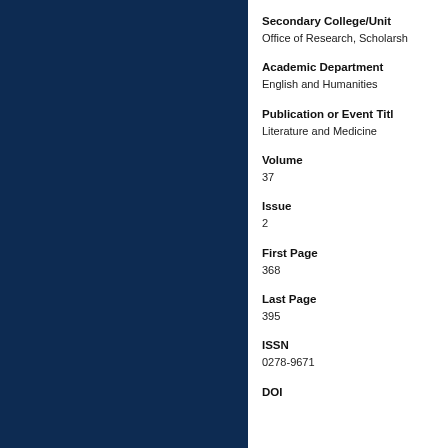Secondary College/Unit
Office of Research, Scholarship
Academic Department
English and Humanities
Publication or Event Title
Literature and Medicine
Volume
37
Issue
2
First Page
368
Last Page
395
ISSN
0278-9671
DOI